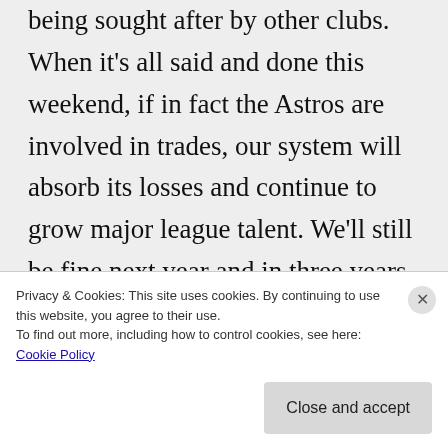being sought after by other clubs. When it's all said and done this weekend, if in fact the Astros are involved in trades, our system will absorb its losses and continue to grow major league talent. We'll still be fine next year and in three years too. In five years? I don't know. I think today we have the best chance to win a World Series in the
Privacy & Cookies: This site uses cookies. By continuing to use this website, you agree to their use. To find out more, including how to control cookies, see here: Cookie Policy